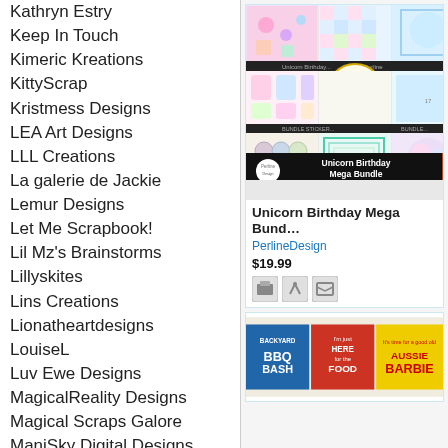Kathryn Estry
Keep In Touch
Kimeric Kreations
KittyScrap
Kristmess Designs
LEA Art Designs
LLL Creations
La galerie de Jackie
Lemur Designs
Let Me Scrapbook!
Lil Mz's Brainstorms
Lillyskites
Lins Creations
Lionatheartdesigns
LouiseL
Luv Ewe Designs
MagicalReality Designs
Magical Scraps Galore
ManiSky Digital Designs
Mariscrap
Meg Scott Studio
Meryl Bartho
Mintie Dasi…
[Figure (screenshot): Unicorn Birthday Mega Bundle product image showing a colorful grid of scrapbooking elements with a BUNDLE and SAVE 25% badge]
Unicorn Birthday Mega Bundle
PerlineDesign
$19.99
[Figure (screenshot): Partial product card showing BBQ/summer themed scrapbooking elements with text BACKYARD BBQ BASH, I'm just HERE for the FOOD, and BARBIE]